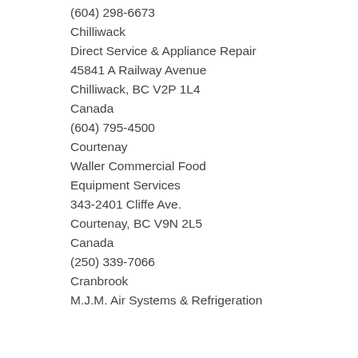(604) 298-6673
Chilliwack
Direct Service & Appliance Repair
45841 A Railway Avenue
Chilliwack, BC V2P 1L4
Canada
(604) 795-4500
Courtenay
Waller Commercial Food Equipment Services
343-2401 Cliffe Ave.
Courtenay, BC V9N 2L5
Canada
(250) 339-7066
Cranbrook
M.J.M. Air Systems & Refrigeration